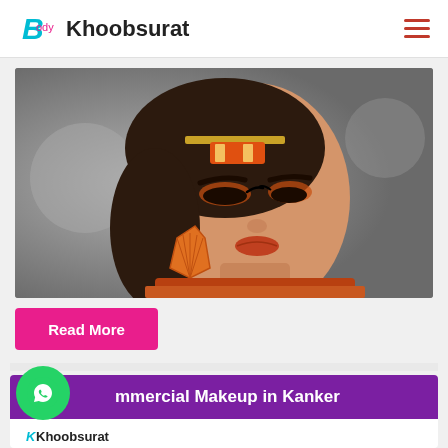Khoobsurat
[Figure (photo): Portrait photo of a woman with orange eye makeup, decorative headpiece with orange and gold beads, orange fan-shaped earrings, and orange-red lipstick, wearing an orange embroidered outfit]
Read More
ommercial Makeup in Kanker
[Figure (logo): Khoobsurat logo at the bottom of the page]